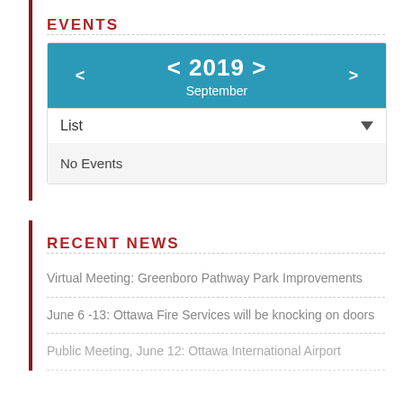EVENTS
[Figure (screenshot): Calendar widget showing year 2019, September, List view, with navigation arrows. No Events message displayed below.]
RECENT NEWS
Virtual Meeting: Greenboro Pathway Park Improvements
June 6 -13: Ottawa Fire Services will be knocking on doors
Public Meeting, June 12: Ottawa International Airport